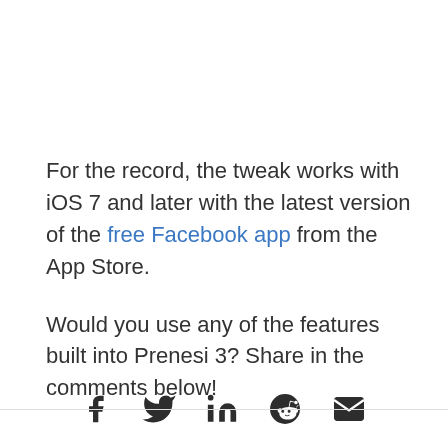For the record, the tweak works with iOS 7 and later with the latest version of the free Facebook app from the App Store.
Would you use any of the features built into Prenesi 3? Share in the comments below!
[Figure (infographic): Social share icons: Facebook, Twitter, LinkedIn, Reddit, Email]